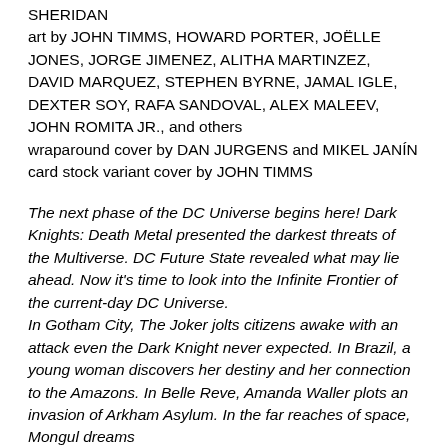SHERIDAN
art by JOHN TIMMS, HOWARD PORTER, JOËLLE JONES, JORGE JIMENEZ, ALITHA MARTINZEZ, DAVID MARQUEZ, STEPHEN BYRNE, JAMAL IGLE, DEXTER SOY, RAFA SANDOVAL, ALEX MALEEV, JOHN ROMITA JR., and others
wraparound cover by DAN JURGENS and MIKEL JANÍN
card stock variant cover by JOHN TIMMS
The next phase of the DC Universe begins here! Dark Knights: Death Metal presented the darkest threats of the Multiverse. DC Future State revealed what may lie ahead. Now it's time to look into the Infinite Frontier of the current-day DC Universe.
In Gotham City, The Joker jolts citizens awake with an attack even the Dark Knight never expected. In Brazil, a young woman discovers her destiny and her connection to the Amazons. In Belle Reve, Amanda Waller plots an invasion of Arkham Asylum. In the far reaches of space, Mongul dreams of enslaving the planets, while the Green Lantern Corps dreams